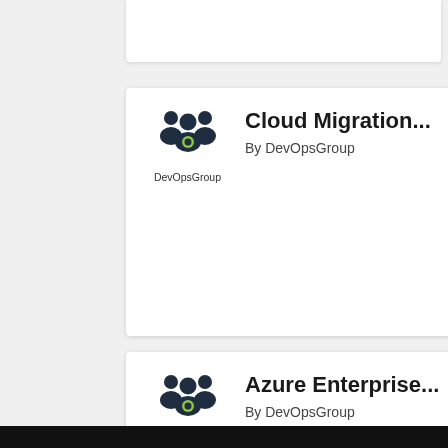[Figure (screenshot): Partial card (top cut off) showing DevOpsGroup marketplace listing]
[Figure (screenshot): Card: Cloud Migration... By DevOpsGroup with DevOpsGroup logo]
[Figure (screenshot): Card: Azure Enterprise... By DevOpsGroup with DevOpsGroup logo]
[Figure (screenshot): Card: DevOpsGroup... By DevOpsGroup with DevOpsGroup logo]